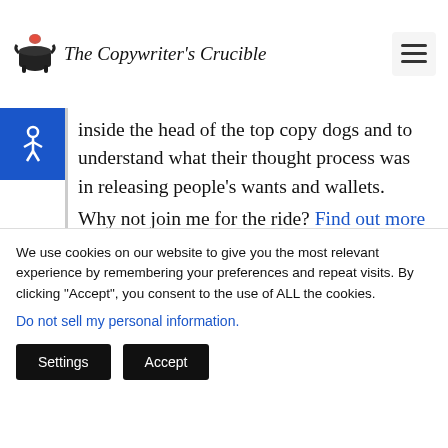The Copywriter's Crucible
inside the head of the top copy dogs and to understand what their thought process was in releasing people's wants and wallets.

Why not join me for the ride? Find out more about Copyhour (or via this non
We use cookies on our website to give you the most relevant experience by remembering your preferences and repeat visits. By clicking “Accept”, you consent to the use of ALL the cookies.
Do not sell my personal information.